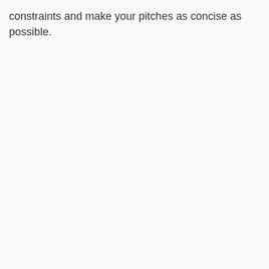constraints and make your pitches as concise as possible.